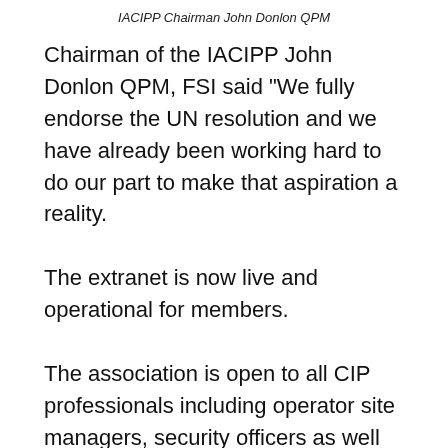IACIPP Chairman John Donlon QPM
Chairman of the IACIPP John Donlon QPM, FSI said “We fully endorse the UN resolution and we have already been working hard to do our part to make that aspiration a reality.
The extranet is now live and operational for members.
The association is open to all CIP professionals including operator site managers, security officers as well as first responders, government agency officials, officers and policy makers. Membership of the association is still free and we encourage